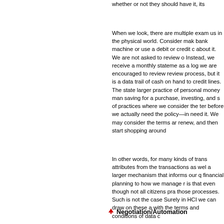whether or not they should have it, its
When we look, there are multiple examples around us in the physical world. Consider making use of a bank machine or use a debit or credit card to think about it. We are not asked to review our data trail. Instead, we receive a monthly statement that serves as a log we are encouraged to review as part of a review process, but it is a data trail of what from cash on hand to credit lines. The statement fits a larger practice of personal money management from saving for a purchase, investing, and s of practices where we consider the terms before we actually need the policy—in need it. We may consider the terms ar renew, and then start shopping around
In other words, for many kinds of trans attributes from the transactions as wel a larger mechanism that informs our q financial planning to how we manage r is that even though not all citizens pra those processes. Such is not the case Surely in HCI we can draw on these a with the terms and conditions of data c
Negotiation/Automation